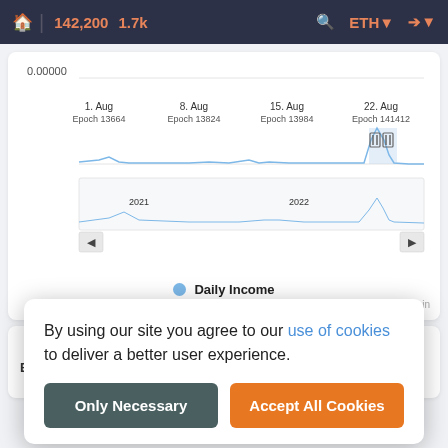🏠 | 142,200  1.7k   🔍  ETH ▾  ➜ ▾
[Figure (continuous-plot): Line chart showing daily income over time from 2021 to Aug 2022. Y-axis starts at 0.00000. X-axis shows dates: 1. Aug (Epoch 13664), 8. Aug (Epoch 13824), 15. Aug (Epoch 13984), 22. Aug (Epoch 141412). The chart shows mostly flat low values with a significant spike near 22. Aug. A mini overview chart below shows the full history from 2021 to 2022 with navigation arrows.]
● Daily Income
beaconcha.in
Validator History
Ep
By using our site you agree to our use of cookies to deliver a better user experience.
Only Necessary
Accept All Cookies